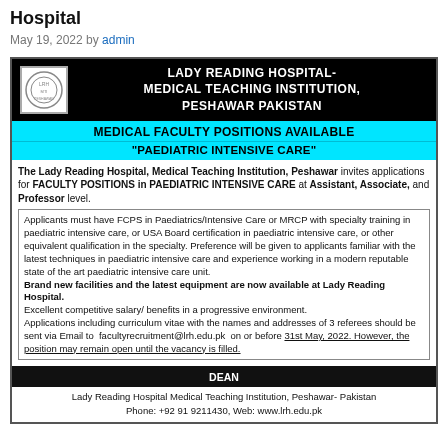Hospital
May 19, 2022 by admin
[Figure (other): Job advertisement for Lady Reading Hospital-Medical Teaching Institution, Peshawar Pakistan. Medical Faculty Positions Available in Paediatric Intensive Care at Assistant, Associate, and Professor level. Contact: facultyrecruitment@lrh.edu.pk, deadline 31st May 2022. Dean, Lady Reading Hospital Medical Teaching Institution, Peshawar-Pakistan. Phone: +92 91 9211430, Web: www.lrh.edu.pk]